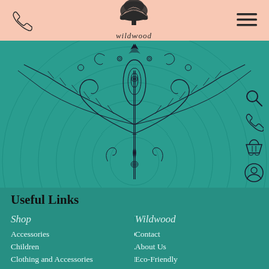[Figure (logo): Wildwood logo with tree icon and script text in peach/salmon header bar]
[Figure (illustration): Decorative floral/paisley ornament illustration on teal background with concentric circle motif]
Useful Links
Shop
Accessories
Children
Clothing and Accessories
Wildwood
Contact
About Us
Eco-Friendly